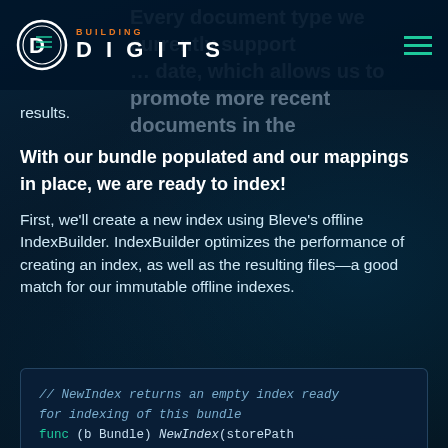BUILDING DIGITS
Every document type we currently support … date, which allows us to promote more recent documents in the results.
With our bundle populated and our mappings in place, we are ready to index!
First, we'll create a new index using Bleve's offline IndexBuilder. IndexBuilder optimizes the performance of creating an index, as well as the resulting files—a good match for our immutable offline indexes.
// NewIndex returns an empty index ready for indexing of this bundle
func (b Bundle) NewIndex(storePath string, batchSize int) (bleve.Builder, error) {